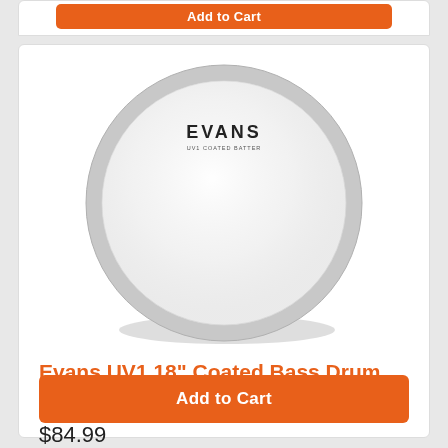[Figure (photo): Evans UV1 18-inch coated bass drum head shown face-on, white circular drum head with Evans logo text at top center, gray mounting ring visible around perimeter, slight shadow beneath]
Evans UV1 18" Coated Bass Drum Head
$84.99
Add to Cart